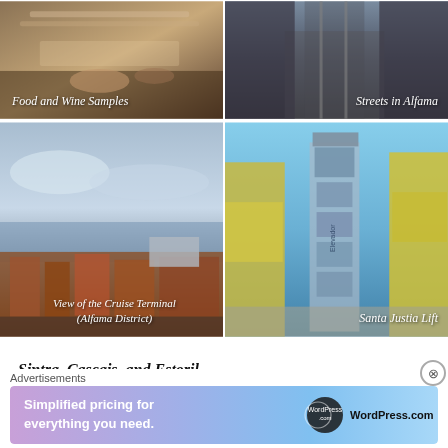[Figure (photo): Close-up of food and wine samples on a wooden surface]
Food and Wine Samples
[Figure (photo): Street view in Alfama district with tram tracks and pedestrians]
Streets in Alfama
[Figure (photo): Aerial view of the Cruise Terminal from the Alfama District with orange rooftops and sea]
View of the Cruise Terminal (Alfama District)
[Figure (photo): Santa Justa Lift seen from below between yellow buildings in Lisbon]
Santa Justia Lift
Sintra, Cascais, and Estoril
I took a day tour with Inside Lisbon to visit Sintra an
Advertisements
[Figure (screenshot): WordPress.com advertisement banner: Simplified pricing for everything you need.]